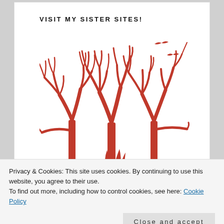VISIT MY SISTER SITES!
[Figure (illustration): Red silhouette illustration of bare winter trees with a small campfire at the base and two birds flying in the upper right corner]
Privacy & Cookies: This site uses cookies. By continuing to use this website, you agree to their use.
To find out more, including how to control cookies, see here: Cookie Policy
Close and accept
BOURBON